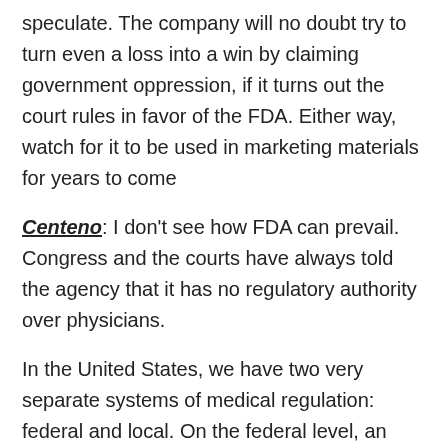speculate. The company will no doubt try to turn even a loss into a win by claiming government oppression, if it turns out the court rules in favor of the FDA. Either way, watch for it to be used in marketing materials for years to come
Centeno: I don't see how FDA can prevail. Congress and the courts have always told the agency that it has no regulatory authority over physicians.
In the United States, we have two very separate systems of medical regulation: federal and local. On the federal level, an example is the FDA, whose job it is to regulate drugs and medical devices that aresold in interstate commerce. On the local level, examples include state medical boards as well as the local departments of health. Your doctor is not regulated by the federal government, but by the state in which he or she practices